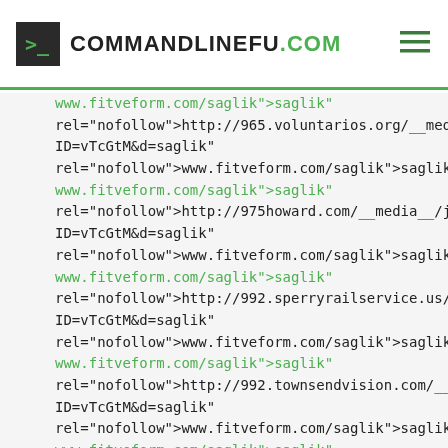COMMANDLINEFU.COM
www.fitveform.com/saglik">saglik"
rel="nofollow">http://965.voluntarios.org/__media__/js/netsoltrad
ID=vTcGtM&d=saglik"
rel="nofollow">www.fitveform.com/saglik">saglik
www.fitveform.com/saglik">saglik"
rel="nofollow">http://975howard.com/__media__/js/netsoltraderm
ID=vTcGtM&d=saglik"
rel="nofollow">www.fitveform.com/saglik">saglik
www.fitveform.com/saglik">saglik"
rel="nofollow">http://992.sperryrailservice.us/__media__/js/netso
ID=vTcGtM&d=saglik"
rel="nofollow">www.fitveform.com/saglik">saglik
www.fitveform.com/saglik">saglik"
rel="nofollow">http://992.townsendvision.com/__media__/js/nets
ID=vTcGtM&d=saglik"
rel="nofollow">www.fitveform.com/saglik">saglik
www.fitveform.com/saglik">saglik"
rel="nofollow">http://998.justintrout.net/__media__/js/netsoltrade
ID=vTcGtM&d=saglik"
rel="nofollow">www.fitveform.com/saglik">saglik
www.fitveform.com/saglik">saglik"